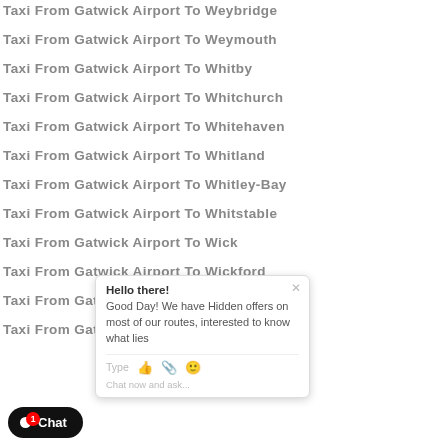Taxi From Gatwick Airport To Weybridge
Taxi From Gatwick Airport To Weymouth
Taxi From Gatwick Airport To Whitby
Taxi From Gatwick Airport To Whitchurch
Taxi From Gatwick Airport To Whitehaven
Taxi From Gatwick Airport To Whitland
Taxi From Gatwick Airport To Whitley-Bay
Taxi From Gatwick Airport To Whitstable
Taxi From Gatwick Airport To Wick
Taxi From Gatwick Airport To Wickford
Taxi From Gatwick Airport To Widnes
Taxi From Gatwick Airport To Wigan